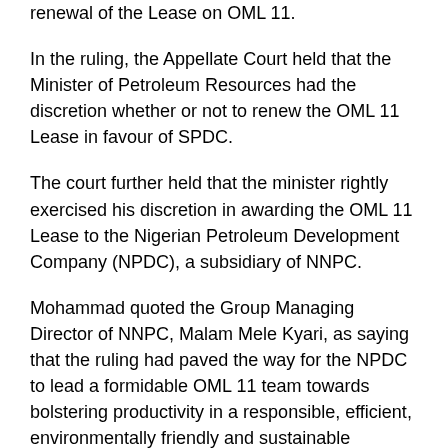renewal of the Lease on OML 11.
In the ruling, the Appellate Court held that the Minister of Petroleum Resources had the discretion whether or not to renew the OML 11 Lease in favour of SPDC.
The court further held that the minister rightly exercised his discretion in awarding the OML 11 Lease to the Nigerian Petroleum Development Company (NPDC), a subsidiary of NNPC.
Mohammad quoted the Group Managing Director of NNPC, Malam Mele Kyari, as saying that the ruling had paved the way for the NPDC to lead a formidable OML 11 team towards bolstering productivity in a responsible, efficient, environmentally friendly and sustainable manner.